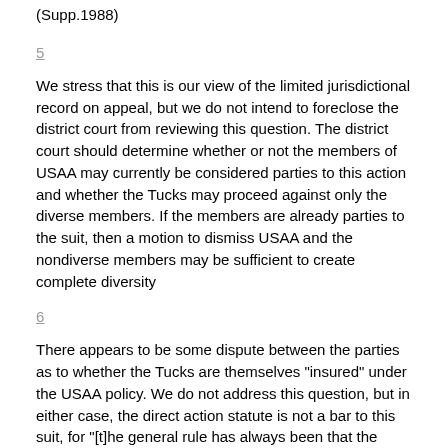(Supp.1988)
5
We stress that this is our view of the limited jurisdictional record on appeal, but we do not intend to foreclose the district court from reviewing this question. The district court should determine whether or not the members of USAA may currently be considered parties to this action and whether the Tucks may proceed against only the diverse members. If the members are already parties to the suit, then a motion to dismiss USAA and the nondiverse members may be sufficient to create complete diversity
6
There appears to be some dispute between the parties as to whether the Tucks are themselves "insured" under the USAA policy. We do not address this question, but in either case, the direct action statute is not a bar to this suit, for "[t]he general rule has always been that the direct action proviso does not affect suits brought by an insured against his own insurer." Bowers v. Continental Ins. Co., 753 F.2d 1574, 1576 (11th Cir.), cert. denied, 473 U.S. 906, 105 S.Ct. 3531, 87 L.Ed.2d 655 (1985)